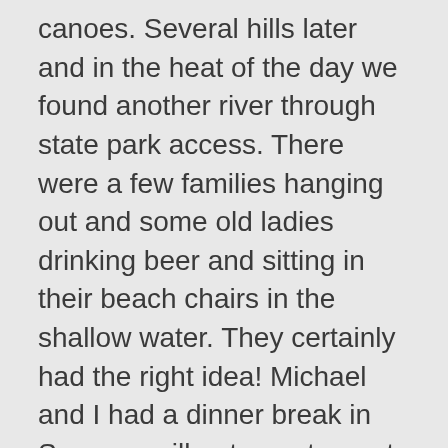canoes. Several hills later and in the heat of the day we found another river through state park access. There were a few families hanging out and some old ladies drinking beer and sitting in their beach chairs in the shallow water. They certainly had the right idea! Michael and I had a dinner break in Summersville at a restaurant called Spring Valley Cafe and they made the best onion rings I have ever eaten. Holy shit, they were awesome! Yes, better than the onion rings at Pizza Palace – slightly different style, but significantly better. We finally rolled up to the city park in Houston just in time to take showers at the city pool. An older man was talking to Tyler when I got back to the pavilion and he was kind of like the guardian of the